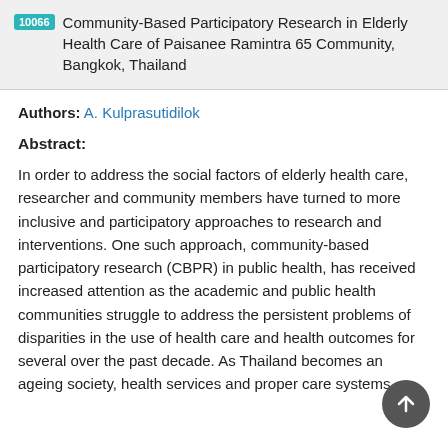10066 Community-Based Participatory Research in Elderly Health Care of Paisanee Ramintra 65 Community, Bangkok, Thailand
Authors: A. Kulprasutidilok
Abstract:
In order to address the social factors of elderly health care, researcher and community members have turned to more inclusive and participatory approaches to research and interventions. One such approach, community-based participatory research (CBPR) in public health, has received increased attention as the academic and public health communities struggle to address the persistent problems of disparities in the use of health care and health outcomes for several over the past decade. As Thailand becomes an ageing society, health services and proper care systems